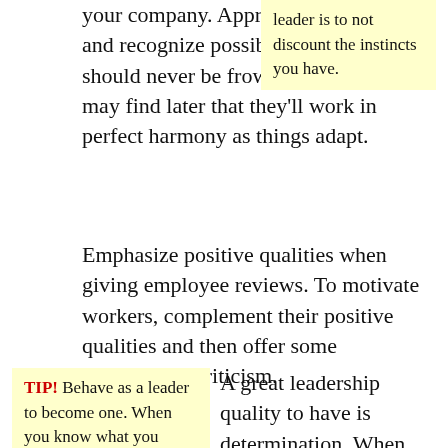your company. Appreciate curiosity and recognize possibilities. New ideas should never be frowned upon. You may find later that they'll work in perfect harmony as things adapt.
leader is to not discount the instincts you have.
Emphasize positive qualities when giving employee reviews. To motivate workers, complement their positive qualities and then offer some constructive criticism.
TIP! Behave as a leader to become one. When you know what you personally expect
A great leadership quality to have is determination. When you have things that go wrong, your team will